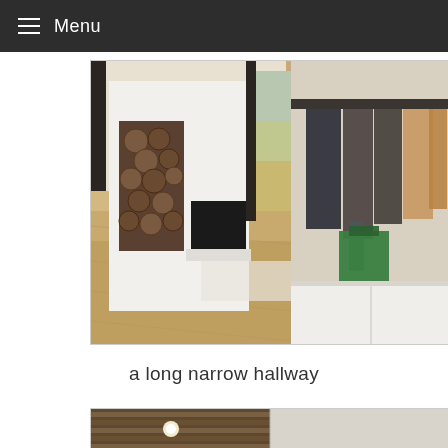Menu
[Figure (photo): Interior hallway/entryway photo showing a modern home with light wood flooring, a white fireplace unit with stacked firewood on the left, large windows in the background, and a coat rack on the right side with jackets and a green bag hanging, plus white storage bench below.]
a long narrow hallway
[Figure (photo): Partial view of another hallway interior with wooden slat ceiling detail and recessed lighting on the left, and a lighter space on the right.]